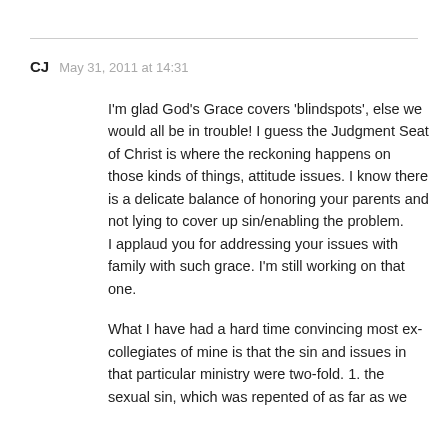CJ   May 31, 2011 at 14:31
I'm glad God's Grace covers 'blindspots', else we would all be in trouble! I guess the Judgment Seat of Christ is where the reckoning happens on those kinds of things, attitude issues. I know there is a delicate balance of honoring your parents and not lying to cover up sin/enabling the problem.
I applaud you for addressing your issues with family with such grace. I'm still working on that one.

What I have had a hard time convincing most ex-collegiates of mine is that the sin and issues in that particular ministry were two-fold. 1. the sexual sin, which was repented of as far as we